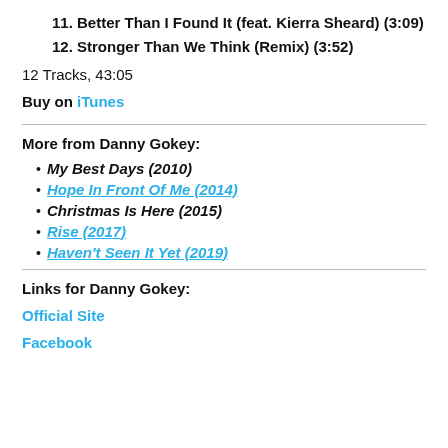11. Better Than I Found It (feat. Kierra Sheard) (3:09)
12. Stronger Than We Think (Remix) (3:52)
12 Tracks, 43:05
Buy on iTunes
More from Danny Gokey:
My Best Days (2010)
Hope In Front Of Me (2014)
Christmas Is Here (2015)
Rise (2017)
Haven't Seen It Yet (2019)
Links for Danny Gokey:
Official Site
Facebook